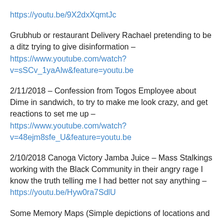https://youtu.be/9X2dxXqmtJc
Grubhub or restaurant Delivery Rachael pretending to be a ditz trying to give disinformation – https://www.youtube.com/watch?v=sSCv_1yaAlw&feature=youtu.be
2/11/2018 – Confession from Togos Employee about Dime in sandwich, to try to make me look crazy, and get reactions to set me up – https://www.youtube.com/watch?v=48ejm8sfe_U&feature=youtu.be
2/10/2018 Canoga Victory Jamba Juice – Mass Stalkings working with the Black Community in their angry rage I know the truth telling me I had better not say anything – https://youtu.be/Hyw0ra7SdlU
Some Memory Maps (Simple depictions of locations and